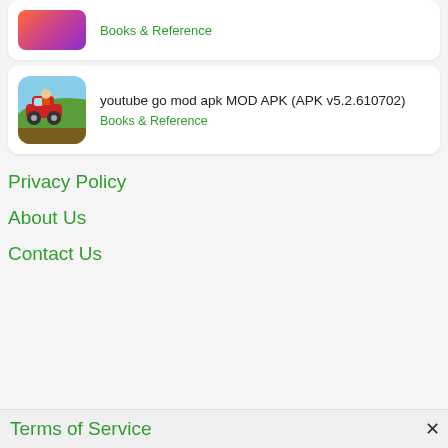Books & Reference
[Figure (screenshot): Hill Climb Racing game app icon - red car on green hill]
youtube go mod apk MOD APK (APK v5.2.610702)
Books & Reference
Privacy Policy
About Us
Contact Us
Terms of Service